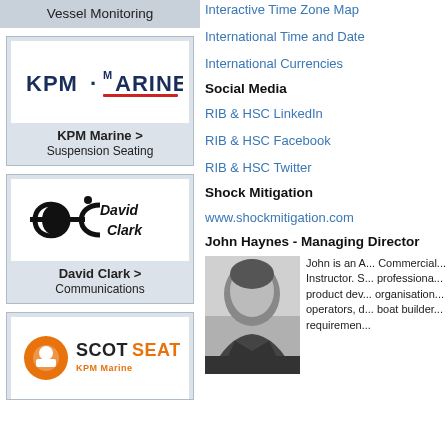Vessel Monitoring
[Figure (logo): KPM Marine logo — bold dark navy text 'KPM · MARINE' with red underline accent]
KPM Marine > Suspension Seating
[Figure (logo): David Clark company logo — stylized 'dc' monogram with 'David Clark' text]
David Clark > Communications
[Figure (logo): ScotSeat / KPM Marine logo — orange circular icon with 'SCOTSEAT' bold text and 'KPM Marine' subtitle]
Interactive Time Zone Map
International Time and Date
International Currencies
Social Media
RIB & HSC LinkedIn
RIB & HSC Facebook
RIB & HSC Twitter
Shock Mitigation
www.shockmitigation.com
John Haynes - Managing Director
[Figure (photo): Black and white portrait photo of John Haynes, a man in a dark jacket, outdoors]
John is an A... Commercial... Instructor. S... professiona... product dev... organisation... operators, d... boat builder... requiremen...